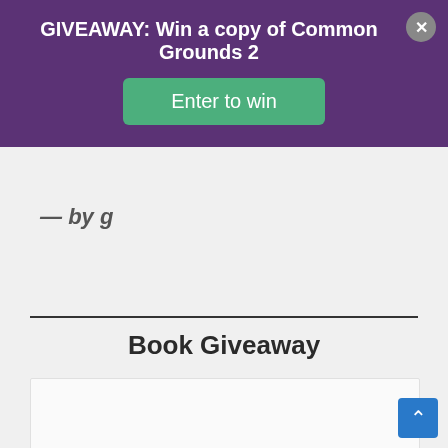GIVEAWAY: Win a copy of Common Grounds 2
Enter to win
View Calendar
Book Giveaway
[Figure (logo): COMMON GROUNDS logo text with horizontal line between the two words]